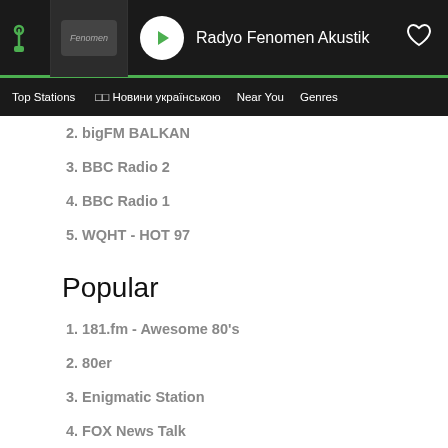Radyo Fenomen Akustik
Top Stations  □□ Новини українською  Near You  Genres
2. bigFM BALKAN
3. BBC Radio 2
4. BBC Radio 1
5. WQHT - HOT 97
Popular
1. 181.fm - Awesome 80's
2. 80er
3. Enigmatic Station
4. FOX News Talk
5. Radio Hamrah 100.3 FM HD3